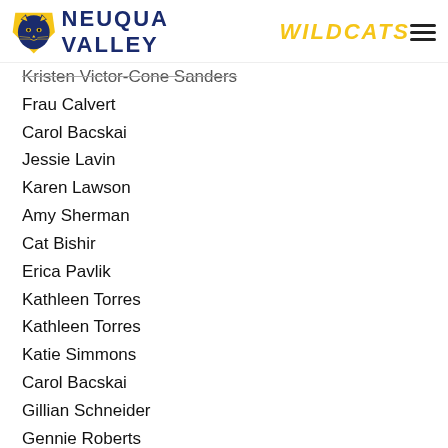Neuqua Valley Wildcats
Kristen Victor-Cone Sanders
Frau Calvert
Carol Bacskai
Jessie Lavin
Karen Lawson
Amy Sherman
Cat Bishir
Erica Pavlik
Kathleen Torres
Kathleen Torres
Katie Simmons
Carol Bacskai
Gillian Schneider
Gennie Roberts
Kathleen Torres
Cat Bishir